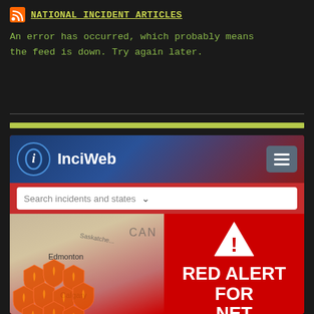NATIONAL INCIDENT ARTICLES
An error has occurred, which probably means the feed is down. Try again later.
[Figure (screenshot): Screenshot of InciWeb website with a red alert overlay for Net Neutrality. The InciWeb page shows a search bar and a map of Canada with fire icons. Overlaid is a red alert banner reading RED ALERT FOR NET NEUTRALITY with a TAKE ACTION button and a CLOSE link.]